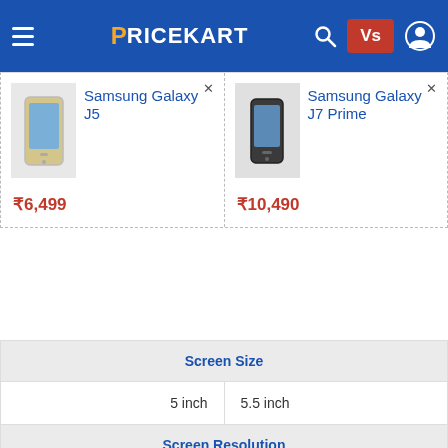PRICEKART
| Samsung Galaxy J5 | Samsung Galaxy J7 Prime |
| --- | --- |
| ₹6,499 | ₹10,490 |
| Samsung Galaxy J5 | Samsung Galaxy J7 Prime |
| --- | --- |
| Screen Size | Screen Size |
| 5 inch | 5.5 inch |
| Screen Resolution | Screen Resolution |
| 720x1280 pixels | 1080x1920 pixels |
| Pixel Density | Pixel Density |